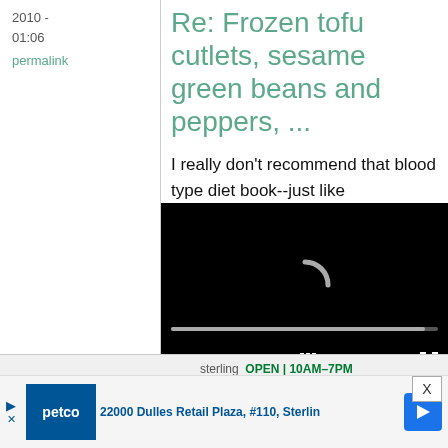2010 -
01:06
permalink
Re: Frozen tofu cutlets, sesame green beans and peppers, ...
I really don't recommend that blood type diet book--just like
[Figure (screenshot): Embedded video player showing loading spinner, progress bar, and controls including mute, timestamp 13:52, CC, grid, and fullscreen buttons]
People do lose weight on it
because it's been shown
sterling | OPEN | 10AM–7PM
22000 Dulles Retail Plaza, #110, Sterling